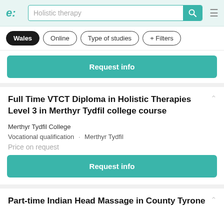[Figure (screenshot): Navigation bar with e: logo, search box showing 'Holistic therapy', teal search icon, and hamburger menu]
Wales · Online · Type of studies · + Filters
Request info
Full Time VTCT Diploma in Holistic Therapies Level 3 in Merthyr Tydfil college course
Merthyr Tydfil College
Vocational qualification · Merthyr Tydfil
Price on request
Request info
Part-time Indian Head Massage in County Tyrone